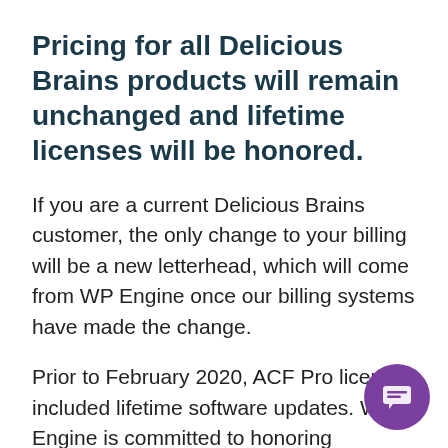Pricing for all Delicious Brains products will remain unchanged and lifetime licenses will be honored.
If you are a current Delicious Brains customer, the only change to your billing will be a new letterhead, which will come from WP Engine once our billing systems have made the change.
Prior to February 2020, ACF Pro licenses included lifetime software updates. WP Engine is committed to honoring lifetime licenses, and lifetime license holders will